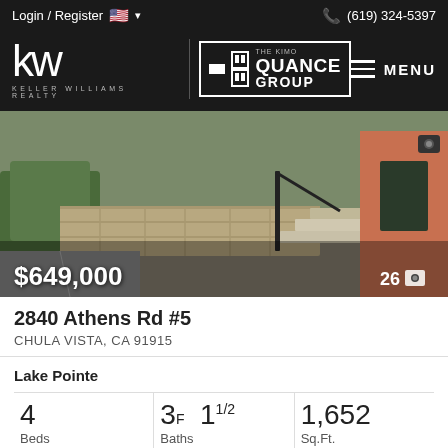Login / Register  🇺🇸 ▾   (619) 324-5397
[Figure (logo): Keller Williams Realty logo with KW letters and The Kimo Quance Group badge]
[Figure (photo): Exterior photo of residential property showing stone steps, landscaping, and terracotta-colored building. Price $649,000 overlaid bottom-left. Photo count 26 overlaid bottom-right.]
2840 Athens Rd #5
CHULA VISTA, CA 91915
Lake Pointe
| Beds | Baths | Sq.Ft. |
| --- | --- | --- |
| 4 | 3F 1 1/2 | 1,652 |
realty